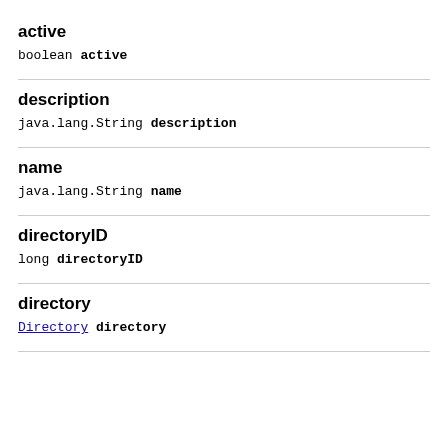active
boolean active
description
java.lang.String description
name
java.lang.String name
directoryID
long directoryID
directory
Directory directory